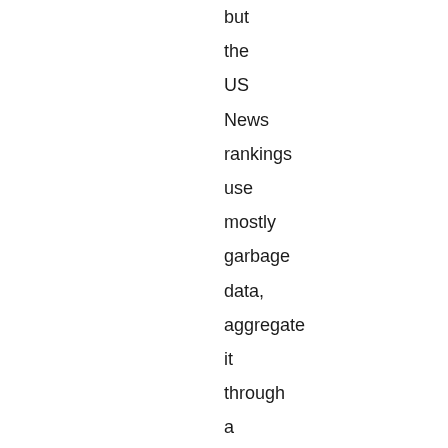but the US News rankings use mostly garbage data, aggregate it through a meaningless and indefensible formula, and create massive incentives for dishonesty and strategic behavior, that distort educational goals and values. As